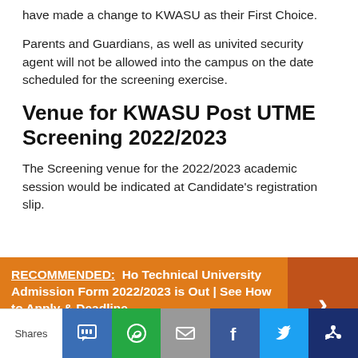have made a change to KWASU as their First Choice.
Parents and Guardians, as well as univited security agent will not be allowed into the campus on the date scheduled for the screening exercise.
Venue for KWASU Post UTME Screening 2022/2023
The Screening venue for the 2022/2023 academic session would be indicated at Candidate's registration slip.
[Figure (infographic): Orange recommended box with text: RECOMMENDED: Ho Technical University Admission Form 2022/2023 is Out | See How to Apply & Deadline, with a right arrow button on dark orange background]
Shares | SMS | WhatsApp | Email | Facebook | Twitter | Other share buttons